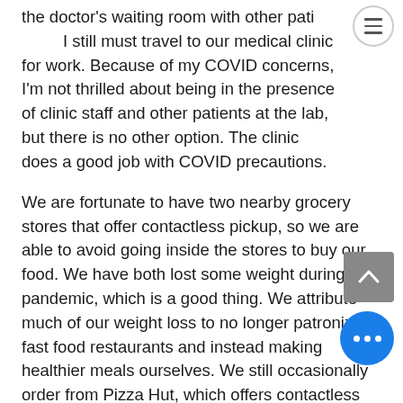the doctor's waiting room with other patients. I still must travel to our medical clinic for work. Because of my COVID concerns, I'm not thrilled about being in the presence of clinic staff and other patients at the lab, but there is no other option. The clinic does a good job with COVID precautions.
We are fortunate to have two nearby grocery stores that offer contactless pickup, so we are able to avoid going inside the stores to buy our food. We have both lost some weight during the pandemic, which is a good thing. We attribute much of our weight loss to no longer patronizing fast food restaurants and instead making healthier meals ourselves. We still occasionally order from Pizza Hut, which offers contactless delivery. Our prescriptions are all delivered by mail.
I wear a KN95 or N95 mask as well as vinyl gloves whenever I leave the house. The slight inconvenience is a small price to pay for the peace of mind.